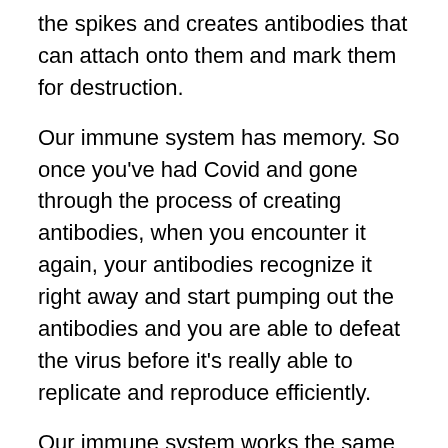the spikes and creates antibodies that can attach onto them and mark them for destruction.
Our immune system has memory. So once you've had Covid and gone through the process of creating antibodies, when you encounter it again, your antibodies recognize it right away and start pumping out the antibodies and you are able to defeat the virus before it's really able to replicate and reproduce efficiently.
Our immune system works the same way with the vaccine. The vaccine teaches your immune system to produce antibodies to the spike protein, so if you encounter Covid, your antibodies are already primed to attach to the spike protein and mark it for destruction before it has ample time to replicate and an infection to take hold.
Obviously, one difference I want to point out is that the